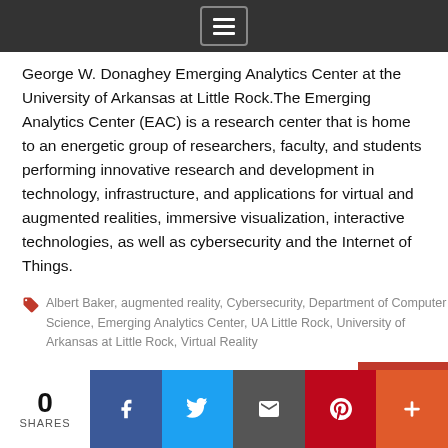George W. Donaghey Emerging Analytics Center at the University of Arkansas at Little Rock.The Emerging Analytics Center (EAC) is a research center that is home to an energetic group of researchers, faculty, and students performing innovative research and development in technology, infrastructure, and applications for virtual and augmented realities, immersive visualization, interactive technologies, as well as cybersecurity and the Internet of Things.
Albert Baker, augmented reality, Cybersecurity, Department of Computer Science, Emerging Analytics Center, UA Little Rock, University of Arkansas at Little Rock, Virtual Reality